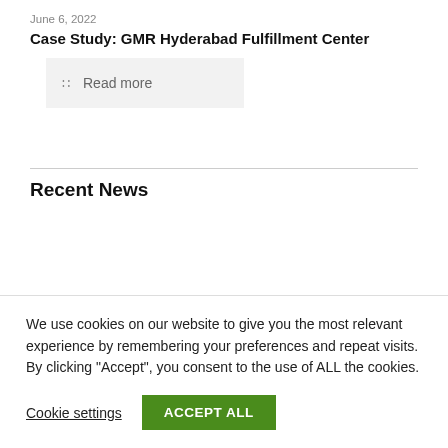June 6, 2022
Case Study: GMR Hyderabad Fulfillment Center
Read more
Recent News
We use cookies on our website to give you the most relevant experience by remembering your preferences and repeat visits. By clicking “Accept”, you consent to the use of ALL the cookies.
Cookie settings
ACCEPT ALL